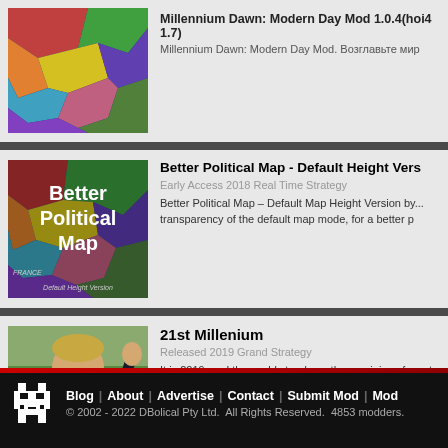Millennium Dawn: Modern Day Mod 1.0.4(hoi4 1.7)
Millennium Dawn: Modern Day Mod. Возглавьте мир
[Figure (screenshot): Political map thumbnail showing colored regions of Europe/world]
Better Political Map - Default Height Vers
Early Access 2018 Real Time Strategy
Better Political Map – Default Map Height Version by... transparency of the default map mode, for a better p
[Figure (illustration): Better Political Map mod thumbnail with bold white text on blue-green background]
21st Millenium
Released 2019 Grand Strategy
It is 2019, and the world stands on the precipice of a yet another cold war. Conflicts abound, and the goal
[Figure (photo): Photo of Donald Trump waving, outdoors on green lawn]
Blog | About | Advertise | Contact | Submit Mod | Mod © 2002 - 2022 DBolical Pty Ltd.  All Rights Reserved.  4853 modders.